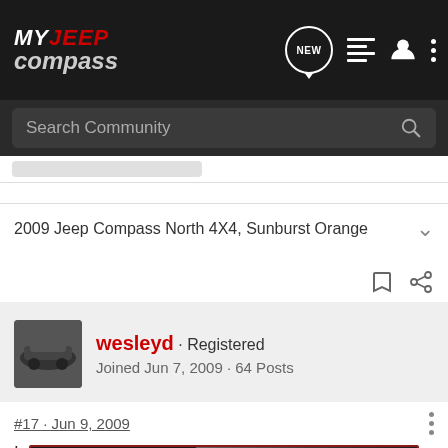MY JEEP compass
Search Community
2009 Jeep Compass North 4X4, Sunburst Orange
wesleyd · Registered
Joined Jun 7, 2009 · 64 Posts
#17 · Jun 9, 2009
I was lo...yone
[Figure (screenshot): Nitto ALL-NEW NOMAD GRAPPLER CROSSOVER-TERRAIN TIRE advertisement banner]